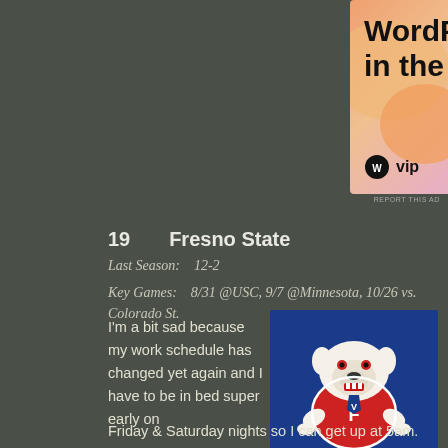[Figure (illustration): WordPress VIP advertisement banner with colorful gradient background (orange, pink, purple blobs). Shows 'WordPress in the back.' headline text, WordPress VIP logo on the left, and 'Learn more →' button on the right.]
REPORT THIS AD
19    Fresno State
Last Season:    12-2
Key Games:    8/31 @USC, 9/7 @Minnesota, 10/26 vs. Colorado St.
[Figure (illustration): Fresno State Bulldogs mascot logo — a white bulldog wearing a red jersey with 'F', on a blue background.]
I'm a bit sad because my work schedule has changed yet again and I have to be in bed super early on Friday & Saturday nights so I can get up at 5am. That means that for the first time in many years I